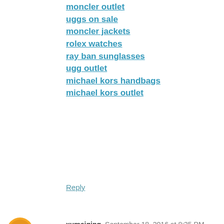moncler outlet
uggs on sale
moncler jackets
rolex watches
ray ban sunglasses
ugg outlet
michael kors handbags
michael kors outlet
Reply
xumeiqing  September 18, 2016 at 8:35 PM
20160916meiqing
lacoste shoes
doudoune moncler
timberland boots
christian louboutin shoes
coach factory outlet
louis vuitton outlet
cheap oakleys
hermes handbags
moncler jackets